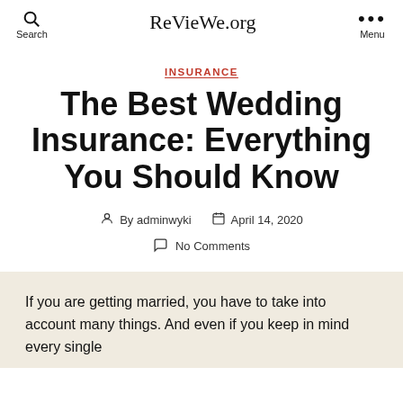Search  ReVieWe.org  Menu
INSURANCE
The Best Wedding Insurance: Everything You Should Know
By adminwyki  April 14, 2020
No Comments
If you are getting married, you have to take into account many things. And even if you keep in mind every single